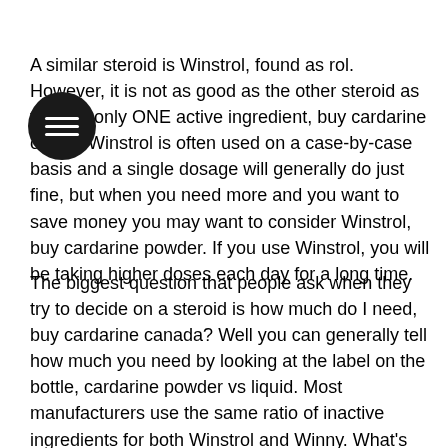A similar steroid is Winstrol, found as rol. However, it is not as good as the other steroid as there is only ONE active ingredient, buy cardarine online. Winstrol is often used on a case-by-case basis and a single dosage will generally do just fine, but when you need more and you want to save money you may want to consider Winstrol, buy cardarine powder. If you use Winstrol, you will be taking higher doses each day for a long time.
The biggest question that people ask when they try to decide on a steroid is how much do I need, buy cardarine canada? Well you can generally tell how much you need by looking at the label on the bottle, cardarine powder vs liquid. Most manufacturers use the same ratio of inactive ingredients for both Winstrol and Winny. What's the most